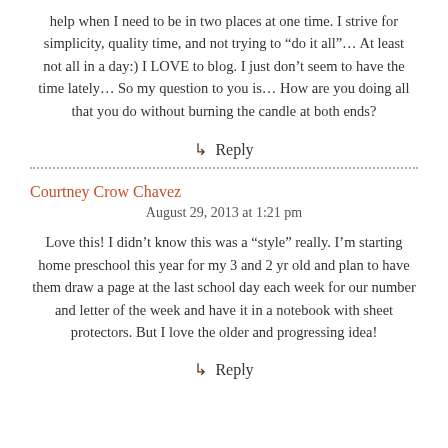help when I need to be in two places at one time. I strive for simplicity, quality time, and not trying to “do it all”… At least not all in a day:) I LOVE to blog. I just don’t seem to have the time lately… So my question to you is… How are you doing all that you do without burning the candle at both ends?
↳ Reply
Courtney Crow Chavez
August 29, 2013 at 1:21 pm
Love this! I didn’t know this was a “style” really. I’m starting home preschool this year for my 3 and 2 yr old and plan to have them draw a page at the last school day each week for our number and letter of the week and have it in a notebook with sheet protectors. But I love the older and progressing idea!
↳ Reply